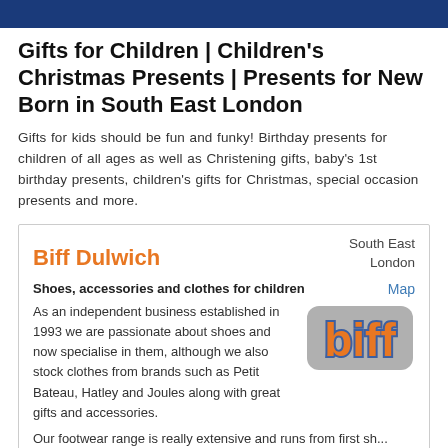Gifts for Children | Children's Christmas Presents | Presents for New Born in South East London
Gifts for kids should be fun and funky! Birthday presents for children of all ages as well as Christening gifts, baby's 1st birthday presents, children's gifts for Christmas, special occasion presents and more.
South East London
Biff Dulwich
Map
Shoes, accessories and clothes for children
[Figure (logo): Biff logo — stylized orange text 'biff' with blue outline on grey rounded rectangle background]
As an independent business established in 1993 we are passionate about shoes and now specialise in them, although we also stock clothes from brands such as Petit Bateau, Hatley and Joules along with great gifts and accessories.
Our footwear range is really extensive and runs from first sh...
read more
Address: 41 Dulwich Village, London SE21 7BN